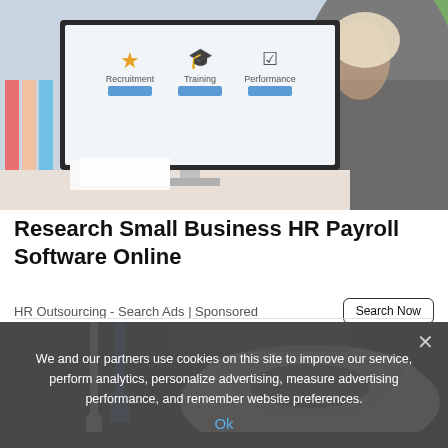[Figure (photo): Woman sitting at a desktop computer monitor showing an HR software interface with icons for Recruitment, Training, and Performance]
Research Small Business HR Payroll Software Online
HR Outsourcing - Search Ads | Sponsored
[Figure (photo): Close-up photo of a toilet bowl and toilet brush in a bathroom]
We and our partners use cookies on this site to improve our service, perform analytics, personalize advertising, measure advertising performance, and remember website preferences.
Ok